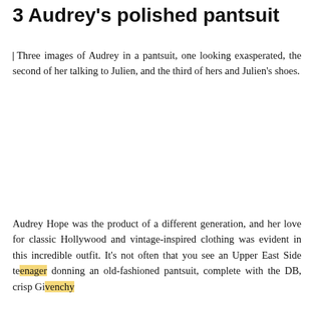3 Audrey's polished pantsuit
[Figure (photo): Three images of Audrey in a pantsuit, one looking exasperated, the second of her talking to Julien, and the third of hers and Julien's shoes.]
Audrey Hope was the product of a different generation, and her love for classic Hollywood and vintage-inspired clothing was evident in this incredible outfit. It's not often that you see an Upper East Side teenager donning an old-fashioned pantsuit, complete with the DB, crisp Givenchy